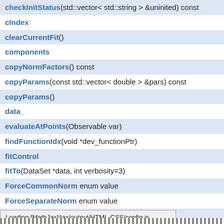checkInitStatus(std::vector< std::string > &uninited) const
cIndex
clearCurrentFit()
components
copyNormFactors() const
copyParams(const std::vector< double > &pars) const
copyParams()
data_
evaluateAtPoints(Observable var)
findFunctionIdx(void *dev_functionPtr)
fitControl
fitTo(DataSet *data, int verbosity=3)
ForceCommonNorm enum value
ForceSeparateNorm enum value
functionIdx
generateNormRange()
getCompProbsAtDataPoints()
getData()
getFunctionIndex() const
getName() const
Loading [MathJax]/jax/output/HTML-CSS/config.js